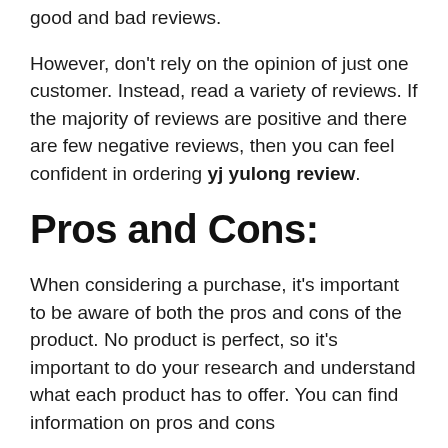good and bad reviews.
However, don't rely on the opinion of just one customer. Instead, read a variety of reviews. If the majority of reviews are positive and there are few negative reviews, then you can feel confident in ordering yj yulong review.
Pros and Cons:
When considering a purchase, it's important to be aware of both the pros and cons of the product. No product is perfect, so it's important to do your research and understand what each product has to offer. You can find information on pros and cons